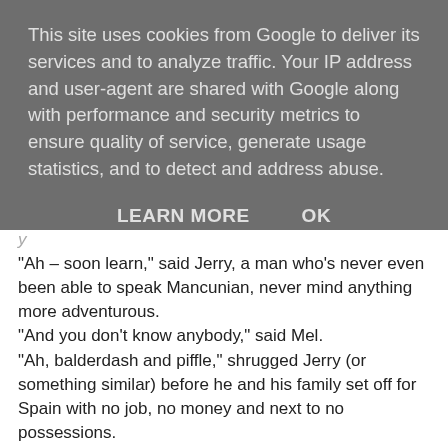This site uses cookies from Google to deliver its services and to analyze traffic. Your IP address and user-agent are shared with Google along with performance and security metrics to ensure quality of service, generate usage statistics, and to detect and address abuse.
LEARN MORE   OK
"Ah – soon learn," said Jerry, a man who's never even been able to speak Mancunian, never mind anything more adventurous.
"And you don't know anybody," said Mel.
"Ah, balderdash and piffle," shrugged Jerry (or something similar) before he and his family set off for Spain with no job, no money and next to no possessions.
We don't understand why Corrie have proved masters of the slow-burning plotline and yet can be so cack-handed with their slow-burning characters.
Anyway, following the rapid dispatching of Harry, Vernon, Jerry, Kayleigh and Finlay, Lovely Liam should be afraid, very afraid, now Tony's in the know.
And, BTW, were you shocked at the sight of Rawsie in a